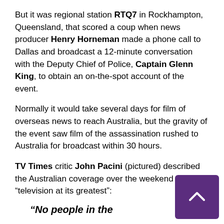But it was regional station RTQ7 in Rockhampton, Queensland, that scored a coup when news producer Henry Horneman made a phone call to Dallas and broadcast a 12-minute conversation with the Deputy Chief of Police, Captain Glenn King, to obtain an on-the-spot account of the event.
Normally it would take several days for film of overseas news to reach Australia, but the gravity of the event saw film of the assassination rushed to Australia for broadcast within 30 hours.
TV Times critic John Pacini (pictured) described the Australian coverage over the weekend as “television at its greatest”:
“No people in the